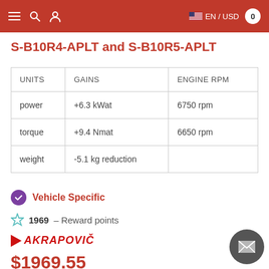EN / USD  0
S-B10R4-APLT and S-B10R5-APLT
| UNITS | GAINS | ENGINE RPM |
| --- | --- | --- |
| power | +6.3 kWat | 6750 rpm |
| torque | +9.4 Nmat | 6650 rpm |
| weight | -5.1 kg reduction |  |
Vehicle Specific
1969  – Reward points
[Figure (logo): Akrapovic brand logo with red arrow and italic text]
$1969.55